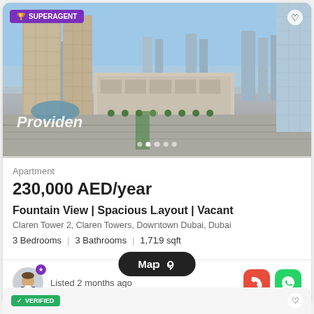[Figure (photo): Aerial view of Downtown Dubai skyline with skyscrapers and a wide boulevard, watermark 'Providen' overlaid]
Apartment
230,000 AED/year
Fountain View | Spacious Layout | Vacant
Claren Tower 2, Claren Towers, Downtown Dubai, Dubai
3 Bedrooms  |  3 Bathrooms  |  1,719 sqft
Listed 2 months ago
Map